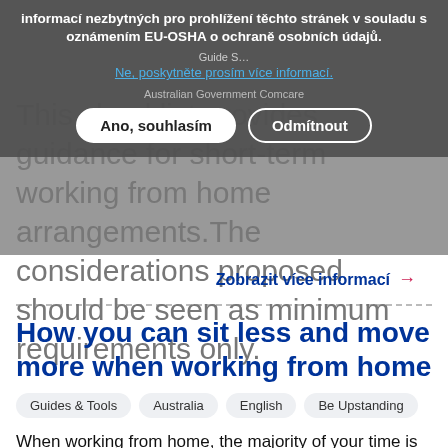informací nezbytných pro prohlížení těchto stránek v souladu s oznámením EU-OSHA o ochraně osobních údajů.
Ne, poskytněte prosím více informací.
Australian Government Comcare
Ano, souhlasím   Odmítnout
This checklist provides guidance for short-term working from home arrangements.The considerations proposed should be seen as minimum requirements only.
Zobrazit více informací →
How you can sit less and move more when working from home
Guides & Tools
Australia
English
Be Upstanding
When working from home, the majority of your time is likely to still be spent sitting at a desk or table. Our main reaction to a busy workload is to sit